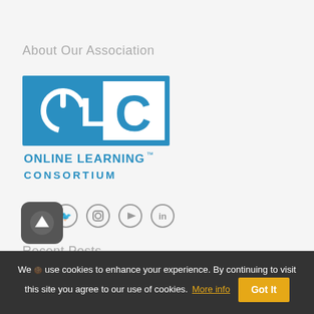About Our Association
[Figure (logo): Online Learning Consortium (OLC) logo — blue square with power symbol icon on left, large white square with blue 'C' on right, text 'ONLINE LEARNING™ CONSORTIUM' below]
[Figure (infographic): Social media icons: Facebook, Twitter, Instagram, YouTube, LinkedIn — all circular grey outlined icons]
Recent Posts
When Life Serves As Inspiration; the Story of OLC's New [Approach] to Conference Engagement (a series)
We use cookies to enhance your experience. By continuing to visit this site you agree to our use of cookies. More info  Got It